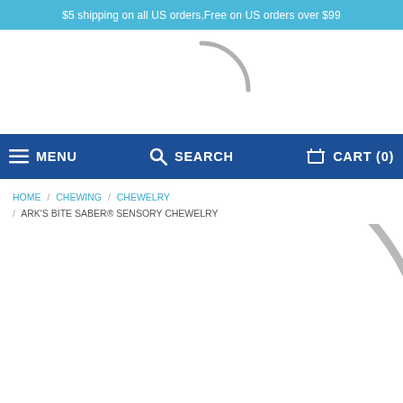$5 shipping on all US orders,Free on US orders over $99
[Figure (screenshot): Loading spinner arc visible in white logo area]
[Figure (screenshot): Navigation bar with MENU, SEARCH, CART (0) links on dark blue background]
HOME / CHEWING / CHEWELRY / ARK'S BITE SABER® SENSORY CHEWELRY
[Figure (photo): Product image area showing partial loading spinner arc on white background]